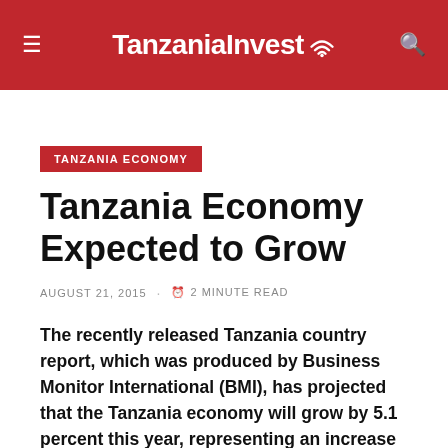TanzaniaInvest
TANZANIA ECONOMY
Tanzania Economy Expected to Grow
AUGUST 21, 2015 · ⏱ 2 MINUTE READ
The recently released Tanzania country report, which was produced by Business Monitor International (BMI), has projected that the Tanzania economy will grow by 5.1 percent this year, representing an increase of 0.6 percent in